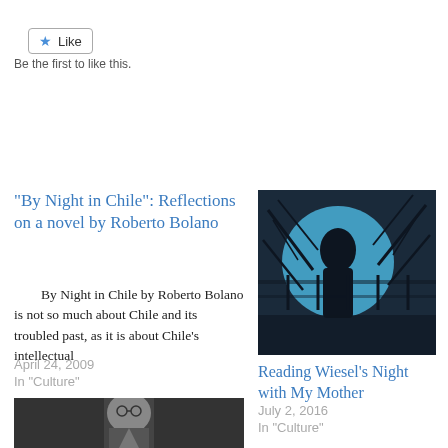[Figure (other): Like button with star icon]
Be the first to like this.
“By Night in Chile”: Reflections on a novel by Roberto Bolano
By Night in Chile by Roberto Bolano is not so much about Chile and its troubled past, as it is about Chile’s intellectual
April 24, 2009
In "Culture"
[Figure (photo): Blue and dark abstract illustration showing a silhouette of a person amid branches against a blue circular background]
Reading Wiesel’s Night with My Mother
July 2, 2016
In "Culture"
[Figure (photo): Black and white photo of an older man wearing glasses and a suit with tie]